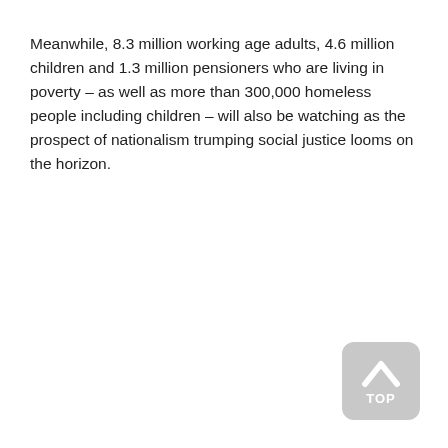Meanwhile, 8.3 million working age adults, 4.6 million children and 1.3 million pensioners who are living in poverty – as well as more than 300,000 homeless people including children – will also be watching as the prospect of nationalism trumping social justice looms on the horizon.
[Figure (other): A rounded grey button with a white upward-pointing chevron arrow and the text TOP in white, positioned at the bottom-right corner of the page.]